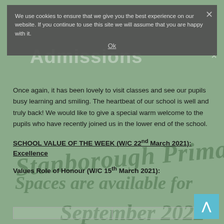We use cookies to ensure that we give you the best experience on our website. If you continue to use this site we will assume that you are happy with it.
Ok
Admissions
Once again, it has been lovely to visit classes and see our pupils busy learning and smiling. The heartbeat of our school is well and truly back! We would like to give a special warm welcome to the pupils who have recently joined us in the lower end of the school.
SCHOOL VALUE OF THE WEEK (W/C 22nd March 2021): Excellence
Values Role of Honour (W/C 15th March 2021):
|  |  |